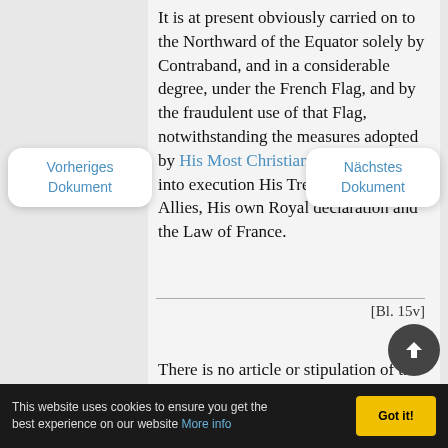It is at present obviously carried on to the Northward of the Equator solely by Contraband, and in a considerable degree, under the French Flag, and by the fraudulent use of that Flag, notwithstanding the measures adopted by His Most Christian Majesty to carry into execution His Treaty with His Allies, His own Royal declaration and the Law of France.
[Bl. 15v]
There is no article or stipulation of the Treaties with the King of F...